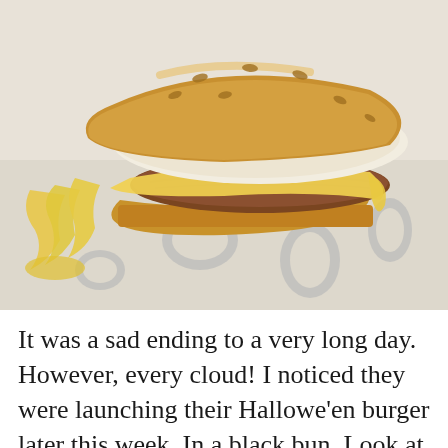[Figure (photo): Close-up photograph of a cheeseburger with melted cheese oozing out on a white paper wrapper with faint blue logo prints. Sesame seed bun visible at top, burger patty visible on the right side, large amount of melted pale yellow cheese dripping down the left side.]
It was a sad ending to a very long day. However, every cloud! I noticed they were launching their Hallowe'en burger later this week. In a black bun. Look at this!